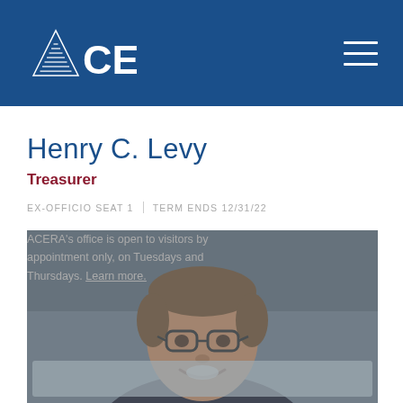[Figure (logo): ACERA logo — white triangle/mountain shape with horizontal lines, beside white text 'CERA' on blue background]
Henry C. Levy
Treasurer
EX-OFFICIO SEAT 1 | TERM ENDS 12/31/22
ACERA's office is open to visitors by appointment only, on Tuesdays and Thursdays. Learn more.
[Figure (photo): Portrait photo of Henry C. Levy, a middle-aged man with glasses, brown hair, smiling, wearing a suit, overlaid with a semi-transparent gray notification banner]